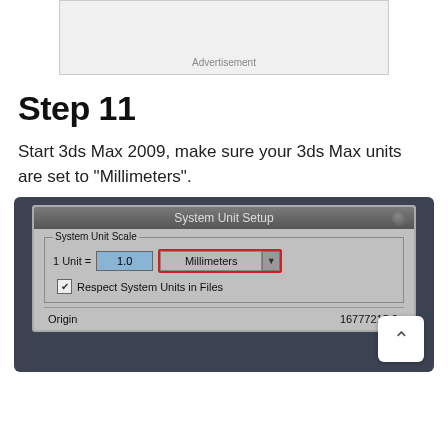[Figure (other): Advertisement placeholder box with 'Advertisement' label]
Step 11
Start 3ds Max 2009, make sure your 3ds Max units are set to "Millimeters".
[Figure (screenshot): Screenshot of 3ds Max System Unit Setup dialog showing System Unit Scale set to 1 Unit = 1.0 Millimeters, with Respect System Units in Files checkbox checked, and Origin value 16777215.0. The Millimeters dropdown is highlighted with a red border.]